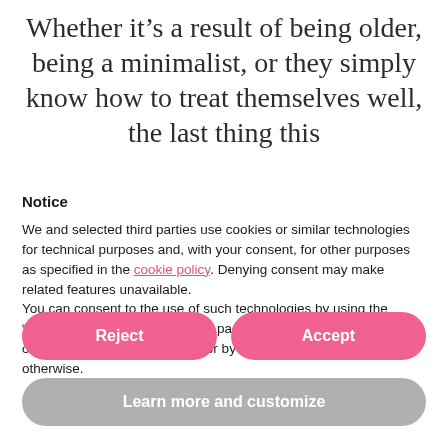Whether it’s a result of being older, being a minimalist, or they simply know how to treat themselves well, the last thing this
Notice
We and selected third parties use cookies or similar technologies for technical purposes and, with your consent, for other purposes as specified in the cookie policy. Denying consent may make related features unavailable.
You can consent to the use of such technologies by using the “Accept” button, by scrolling this page, by interacting with any link or button outside of this notice or by continuing to browse otherwise.
Reject
Accept
Learn more and customize